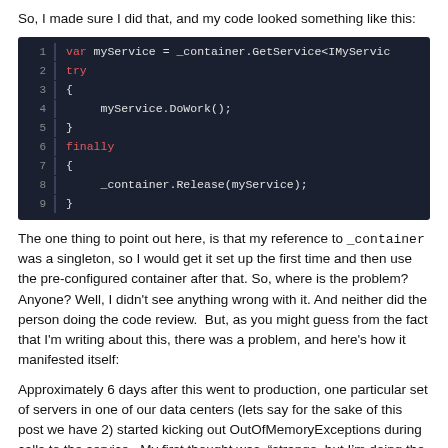So, I made sure I did that, and my code looked something like this:
[Figure (screenshot): Code block showing C# code with var, try, finally keywords. Lines: 1: var myService = _container.GetService<IMyServic, 2: try, 3: {, 4:     myService.DoWork();, 5: }, 6: finally, 7: {, 8:     _container.Release(myService);, 9: }]
The one thing to point out here, is that my reference to _container was a singleton, so I would get it set up the first time and then use the pre-configured container after that. So, where is the problem? Anyone? Well, I didn't see anything wrong with it. And neither did the person doing the code review.  But, as you might guess from the fact that I'm writing about this, there was a problem, and here's how it manifested itself:
Approximately 6 days after this went to production, one particular set of servers in one of our data centers (lets say for the sake of this post we have 2) started kicking out OutOfMemoryExceptions during calls to the service.  My first thought was, “strange, but I’m doing the right thing here and releasing, so its probably just something else eating up memory and my code is suffering”.  To help demonstrate this I even set